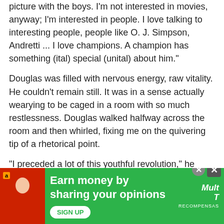picture with the boys. I'm not interested in movies, anyway; I'm interested in people. I love talking to interesting people, people like O. J. Simpson, Andretti ... I love champions. A champion has something (ital) special (unital) about him."

Douglas was filled with nervous energy, raw vitality. He couldn't remain still. It was in a sense actually wearying to be caged in a room with so much restlessness. Douglas walked halfway across the room and then whirled, fixing me on the quivering tip of a rhetorical point.

"I preceded a lot of this youthful revolution," he said. "And Thoreau did too, back in 1825. Compared to Thoreau, Saint Francis of Assisi was peanuts. And don't get me wrong. There's nothing the matter with building castles in the air. It wasn't so much Thoreau as his philosophy. It's like, you ever hear that song? It's gotta be me, just gotta be me . . ."

Douglas sat again on the couch, as the last notes lingered. He
[Figure (other): Advertisement banner with green background. Shows Amazon logo, a person in red outfit, text 'Earn money by sharing your opinions', a SIGN UP button, and a logo reading 'Mult Recompensas'. Has close buttons (circle X and square X).]